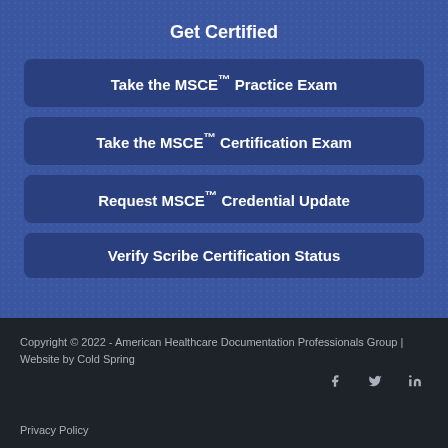Get Certified
Take the MSCE™ Practice Exam
Take the MSCE™ Certification Exam
Request MSCE™ Credential Update
Verify Scribe Certification Status
Copyright © 2022 - American Healthcare Documentation Professionals Group | Website by Cold Spring
Privacy Policy